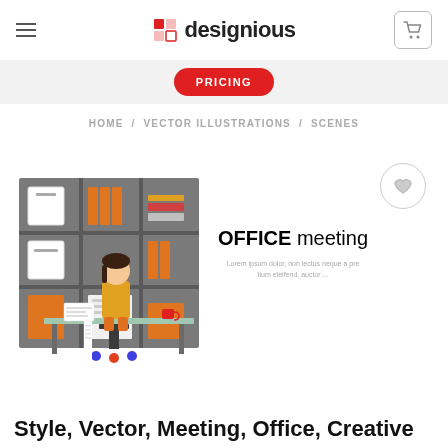designious
PRICING
HOME / VECTOR ILLUSTRATIONS / SCENES
[Figure (illustration): Office scene illustration showing a woman sitting at a desk with a bookshelf behind her, with orange folders and books on shelves, text reading OFFICE meeting with Lorem ipsum placeholder text]
Style, Vector, Meeting, Office, Creative